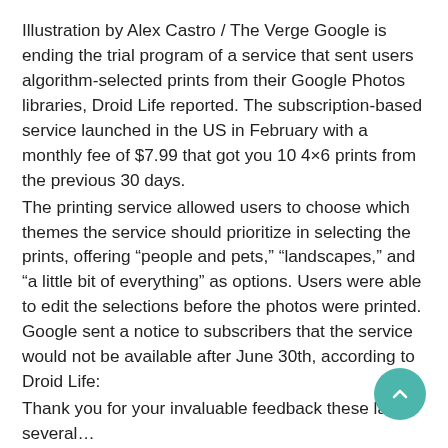Illustration by Alex Castro / The Verge Google is ending the trial program of a service that sent users algorithm-selected prints from their Google Photos libraries, Droid Life reported. The subscription-based service launched in the US in February with a monthly fee of $7.99 that got you 10 4×6 prints from the previous 30 days.
The printing service allowed users to choose which themes the service should prioritize in selecting the prints, offering “people and pets,” “landscapes,” and “a little bit of everything” as options. Users were able to edit the selections before the photos were printed. Google sent a notice to subscribers that the service would not be available after June 30th, according to Droid Life:
Thank you for your invaluable feedback these last several…
Continue reading…